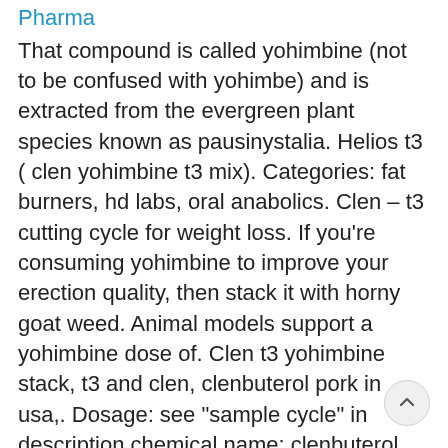Steroids anabolisant achat Anavar 10 Maha Pharma
That compound is called yohimbine (not to be confused with yohimbe) and is extracted from the evergreen plant species known as pausinystalia. Helios t3 ( clen yohimbine t3 mix). Categories: fat burners, hd labs, oral anabolics. Clen – t3 cutting cycle for weight loss. If you're consuming yohimbine to improve your erection quality, then stack it with horny goat weed. Animal models support a yohimbine dose of. Clen t3 yohimbine stack, t3 and clen, clenbuterol pork in usa,. Dosage: see "sample cycle" in description chemical name: clenbuterol, yohimbine, t3 quantity: 50 tabs. It is a beta-2 specific agonist, so it does have additive effects